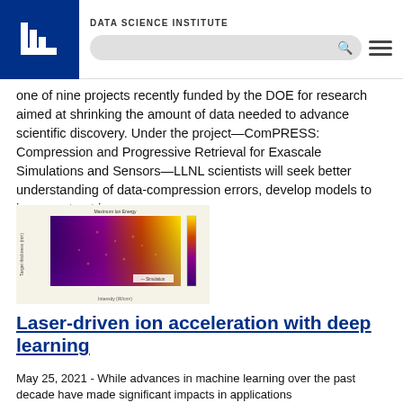DATA SCIENCE INSTITUTE
one of nine projects recently funded by the DOE for research aimed at shrinking the amount of data needed to advance scientific discovery. Under the project—ComPRESS: Compression and Progressive Retrieval for Exascale Simulations and Sensors—LLNL scientists will seek better understanding of data-compression errors, develop models to increase trust in...
[Figure (other): Scientific heatmap/scatter plot showing Maximum Ion Energy with axes for laser intensity and target thickness, color scale from purple to yellow]
Laser-driven ion acceleration with deep learning
May 25, 2021 - While advances in machine learning over the past decade have made significant impacts in applications